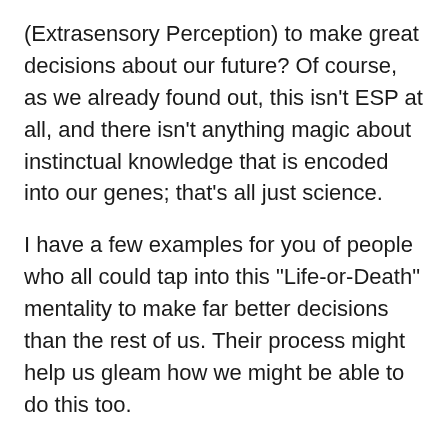(Extrasensory Perception) to make great decisions about our future? Of course, as we already found out, this isn't ESP at all, and there isn't anything magic about instinctual knowledge that is encoded into our genes; that's all just science.
I have a few examples for you of people who all could tap into this "Life-or-Death" mentality to make far better decisions than the rest of us. Their process might help us gleam how we might be able to do this too.
Marc Lore, someone I worked for and is the founder of Jet.com. Marc built Jet from the ground up and sold it to Walmart for 3.3 billion dollars with just a year of inception...